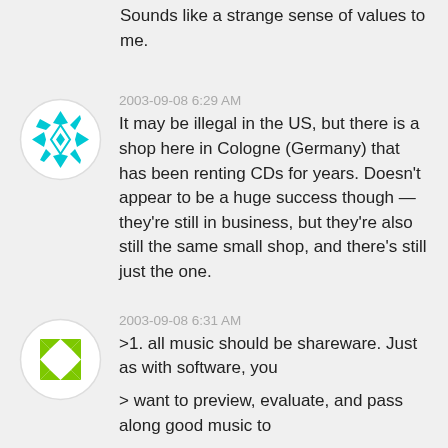Sounds like a strange sense of values to me.
2003-09-08 6:29 AM
It may be illegal in the US, but there is a shop here in Cologne (Germany) that has been renting CDs for years. Doesn't appear to be a huge success though — they're still in business, but they're also still the same small shop, and there's still just the one.
2003-09-08 6:31 AM
>1. all music should be shareware. Just as with software, you

> want to preview, evaluate, and pass along good music to

> others–in the process of buying it.

HA!

1.) THe only form of shareware that works is crippled-ware. Turn off a save option